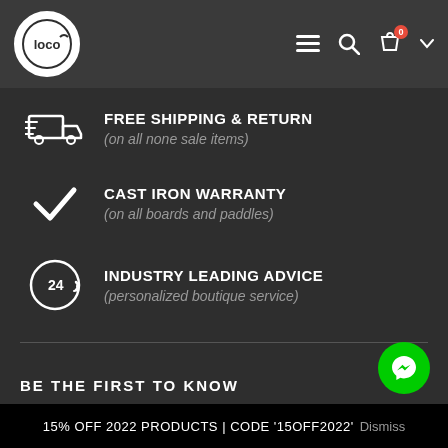Loco (logo) navigation header with hamburger menu, search, cart (0), and dropdown
FREE SHIPPING & RETURN (on all none sale items)
CAST IRON WARRANTY (on all boards and paddles)
INDUSTRY LEADING ADVICE (personalized boutique service)
BE THE FIRST TO KNOW
15% OFF 2022 PRODUCTS | CODE '15OFF2022'  Dismiss